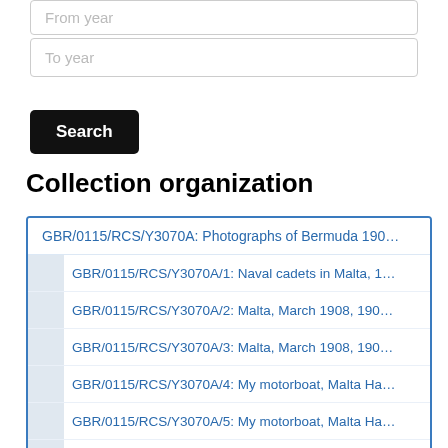From year (input box, partially visible at top)
To year
Search
Collection organization
GBR/0115/RCS/Y3070A: Photographs of Bermuda 190...
GBR/0115/RCS/Y3070A/1: Naval cadets in Malta, 1...
GBR/0115/RCS/Y3070A/2: Malta, March 1908, 190...
GBR/0115/RCS/Y3070A/3: Malta, March 1908, 190...
GBR/0115/RCS/Y3070A/4: My motorboat, Malta Ha...
GBR/0115/RCS/Y3070A/5: My motorboat, Malta Ha...
GBR/0115/RCS/Y3070A/6: HMS 'Cornwall'; coaling...
GBR/0115/RCS/Y3070A/7: HMS 'Cornwall'; coaling...
GBR/0115/RCS/Y3070A/8: My motorboat at a picni...
GBR/0115/RCS/Y3070A/9: Tug of war, Bermuda, M...